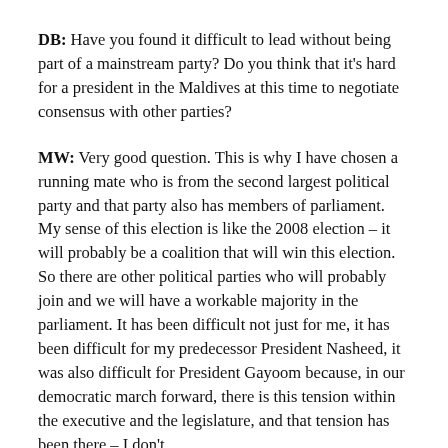DB: Have you found it difficult to lead without being part of a mainstream party? Do you think that it's hard for a president in the Maldives at this time to negotiate consensus with other parties?
MW: Very good question. This is why I have chosen a running mate who is from the second largest political party and that party also has members of parliament. My sense of this election is like the 2008 election – it will probably be a coalition that will win this election. So there are other political parties who will probably join and we will have a workable majority in the parliament. It has been difficult not just for me, it has been difficult for my predecessor President Nasheed, it was also difficult for President Gayoom because, in our democratic march forward, there is this tension within the executive and the legislature, and that tension has been there – I don't